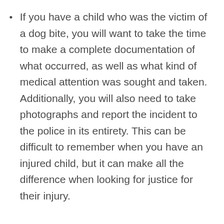If you have a child who was the victim of a dog bite, you will want to take the time to make a complete documentation of what occurred, as well as what kind of medical attention was sought and taken. Additionally, you will also need to take photographs and report the incident to the police in its entirety. This can be difficult to remember when you have an injured child, but it can make all the difference when looking for justice for their injury.
In the event that you are acquainted with the owner of the dog that was responsible for the incident, notify them immediately of what happened. Furthermore, inform them that